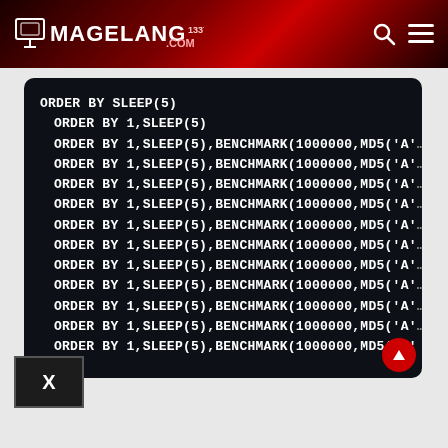MAGELANG1337.COM
[Figure (screenshot): Dark terminal/code box showing SQL injection payloads with ORDER BY SLEEP(5) and BENCHMARK commands]
X